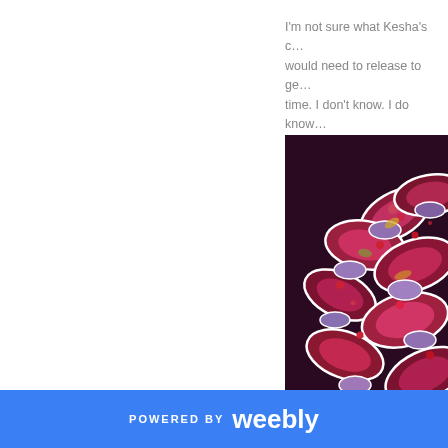I'm not sure what Kesha's c... would need to release to ge... time. I don't know. I do know... that last album out of the wa... her own. Not a single one o...
[Figure (photo): Close-up photo of a person wearing colorful ornate feathered headdress with pink hair, decorative costume with red, purple, and white feather-like embellishments on dark background]
POWERED BY weebly